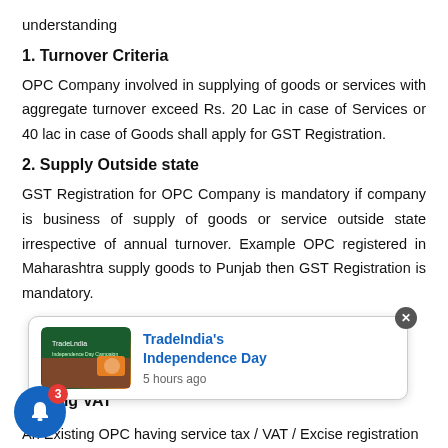understanding
1. Turnover Criteria
OPC Company involved in supplying of goods or services with aggregate turnover exceed Rs. 20 Lac in case of Services or 40 lac in case of Goods shall apply for GST Registration.
2. Supply Outside state
GST Registration for OPC Company is mandatory if company is business of supply of goods or service outside state irrespective of annual turnover. Example OPC registered in Maharashtra supply goods to Punjab then GST Registration is mandatory.
[Figure (screenshot): TradeIndia's Independence Day notification popup with green and orange banner image, showing '5 hours ago' timestamp]
3. Existing VAT
An Existing OPC having service tax / VAT / Excise registration